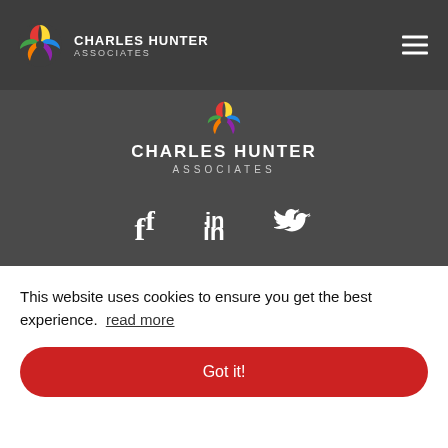[Figure (logo): Charles Hunter Associates logo with colorful geometric icon and company name in navbar]
[Figure (logo): Charles Hunter Associates centered logo with small icon, bold company name and ASSOCIATES text]
[Figure (infographic): Social media icons: Facebook (f), LinkedIn (in), Twitter bird]
ABOUT
We are a specialist recruitment agency operating within
This website uses cookies to ensure you get the best experience. read more
Got it!